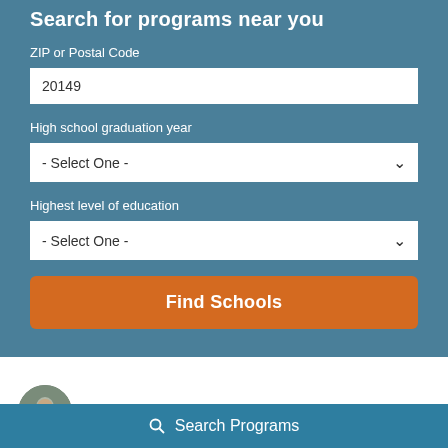Search for programs near you
ZIP or Postal Code
20149
High school graduation year
- Select One -
Highest level of education
- Select One -
Find Schools
by Scott Miller   Last updated Jul. 10, 2020
Search Programs